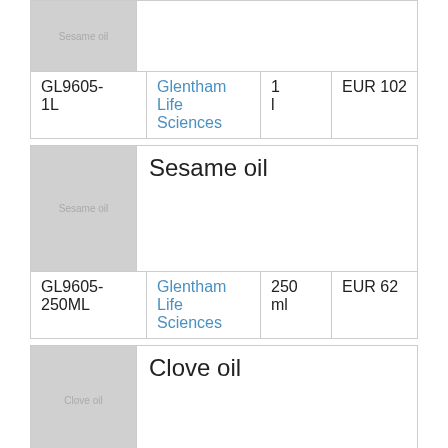| SKU | Supplier | Qty | Price |
| --- | --- | --- | --- |
| GL9605-1L | Glentham Life Sciences | 1 l | EUR 102 |
| Product | SKU | Supplier | Qty | Price |
| --- | --- | --- | --- | --- |
| Sesame oil |  |  |  |  |
| GL9605-250ML | Glentham Life Sciences | 250 ml | EUR 62 |
| Product |
| --- |
| Clove oil |